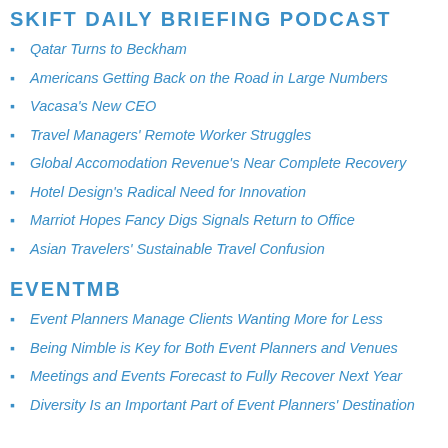SKIFT DAILY BRIEFING PODCAST
Qatar Turns to Beckham
Americans Getting Back on the Road in Large Numbers
Vacasa's New CEO
Travel Managers' Remote Worker Struggles
Global Accomodation Revenue's Near Complete Recovery
Hotel Design's Radical Need for Innovation
Marriot Hopes Fancy Digs Signals Return to Office
Asian Travelers' Sustainable Travel Confusion
EVENTMB
Event Planners Manage Clients Wanting More for Less
Being Nimble is Key for Both Event Planners and Venues
Meetings and Events Forecast to Fully Recover Next Year
Diversity Is an Important Part of Event Planners' Destination